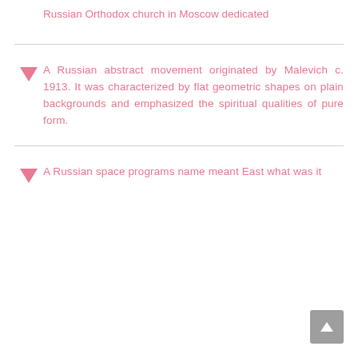Russian Orthodox church in Moscow dedicated
A Russian abstract movement originated by Malevich c. 1913. It was characterized by flat geometric shapes on plain backgrounds and emphasized the spiritual qualities of pure form.
A Russian space programs name meant East what was it